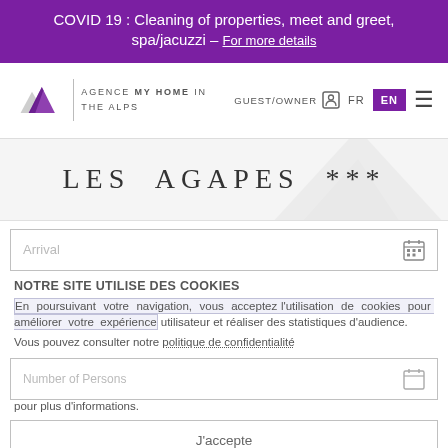COVID 19 : Cleaning of properties, meet and greet, spa/jacuzzi - For more details
[Figure (logo): Agence My Home in the Alps logo with mountain graphic]
GUEST/OWNER  FR  EN
LES AGAPES ***
Arrival
NOTRE SITE UTILISE DES COOKIES
En poursuivant votre navigation, vous acceptez l'utilisation de cookies pour améliorer votre expérience utilisateur et réaliser des statistiques d'audience.
Vous pouvez consulter notre politique de confidentialité pour plus d'informations.
Number of Persons
J'accepte
BOOK NOW